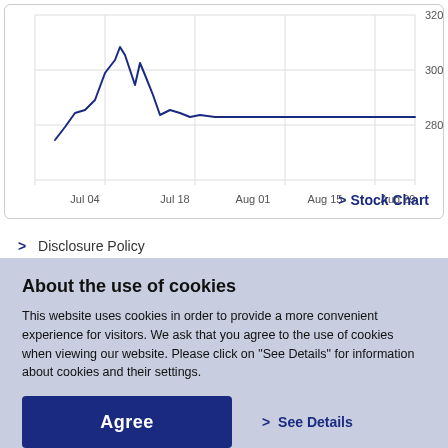[Figure (continuous-plot): Partial stock price line chart showing price movement from Jul 04 to Aug 29, with y-axis values around 280-320+. The line (dark blue) starts near 290, rises sharply to a peak around Jul 11-14, then drops and stabilizes around 295-300.]
> Stock Chart
> Disclosure Policy
About the use of cookies
This website uses cookies in order to provide a more convenient experience for visitors. We ask that you agree to the use of cookies when viewing our website. Please click on "See Details" for information about cookies and their settings.